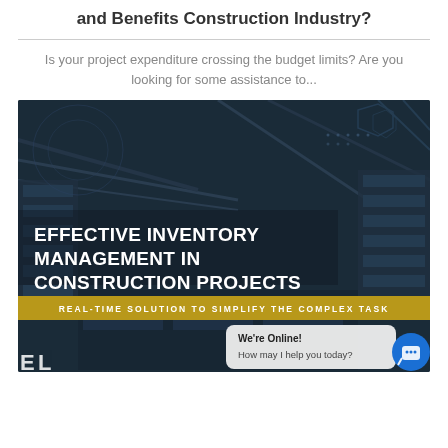and Benefits Construction Industry?
Is your project expenditure crossing the budget limits? Are you looking for some assistance to...
[Figure (illustration): Dark warehouse/industrial facility background with overlay text reading 'EFFECTIVE INVENTORY MANAGEMENT IN CONSTRUCTION PROJECTS' with a yellow banner subtitle 'REAL-TIME SOLUTION TO SIMPLIFY THE COMPLEX TASK'. A chat bubble overlay reads 'We're Online! How may I help you today?' with a blue chat icon button.]